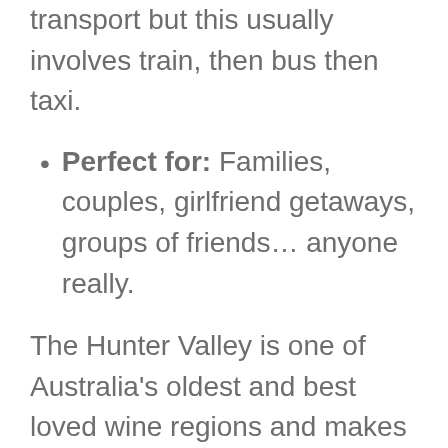transport but this usually involves train, then bus then taxi.
Perfect for: Families, couples, girlfriend getaways, groups of friends… anyone really.
The Hunter Valley is one of Australia's oldest and best loved wine regions and makes for a fun weekend getaway from Sydney, whether you are visiting with family, friends or a special loved one.
The region specializes in Shiraz and